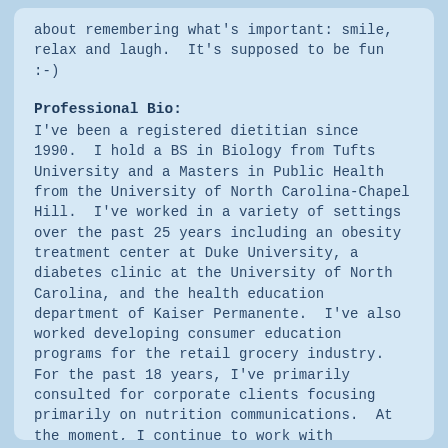about remembering what's important: smile, relax and laugh.  It's supposed to be fun :-)
Professional Bio:
I've been a registered dietitian since 1990.  I hold a BS in Biology from Tufts University and a Masters in Public Health from the University of North Carolina-Chapel Hill.  I've worked in a variety of settings over the past 25 years including an obesity treatment center at Duke University, a diabetes clinic at the University of North Carolina, and the health education department of Kaiser Permanente.  I've also worked developing consumer education programs for the retail grocery industry. For the past 18 years, I've primarily consulted for corporate clients focusing primarily on nutrition communications.  At the moment, I continue to work with corporate clients but I also work with individuals, and  I offer community seminars on nutrition.